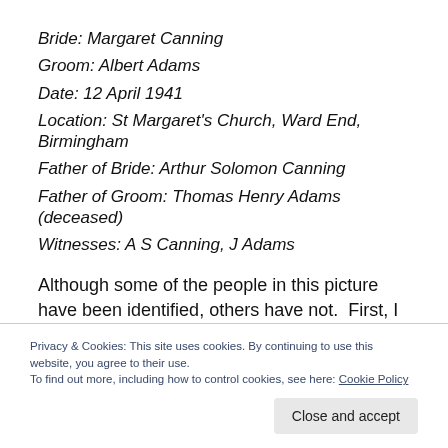Bride: Margaret Canning
Groom: Albert Adams
Date: 12 April 1941
Location: St Margaret's Church, Ward End, Birmingham
Father of Bride: Arthur Solomon Canning
Father of Groom: Thomas Henry Adams (deceased)
Witnesses: A S Canning, J Adams
Although some of the people in this picture have been identified, others have not.  First, I want to do the
Privacy & Cookies: This site uses cookies. By continuing to use this website, you agree to their use.
To find out more, including how to control cookies, see here: Cookie Policy
Close and accept